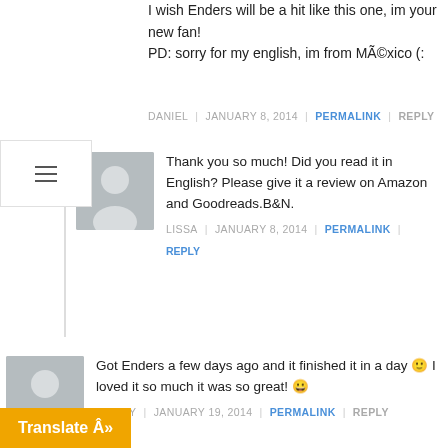I wish Enders will be a hit like this one, im your new fan!
PD: sorry for my english, im from MÃ©xico (:
DANIEL | JANUARY 8, 2014 | PERMALINK | REPLY
[Figure (illustration): Gray silhouette avatar for Lissa comment]
Thank you so much! Did you read it in English? Please give it a review on Amazon and Goodreads.B&N.
LISSA | JANUARY 8, 2014 | PERMALINK | REPLY
[Figure (illustration): Gray silhouette avatar for Naomy comment]
Got Enders a few days ago and it finished it in a day 🙂 I loved it so much it was so great! 😀
NAOMY | JANUARY 19, 2014 | PERMALINK | REPLY
[Figure (illustration): Gray silhouette avatar partially visible for last reply]
Reviews, please! Thank you!
SA | JANUARY 23, 2014 | PERMALINK |
Translate Â»